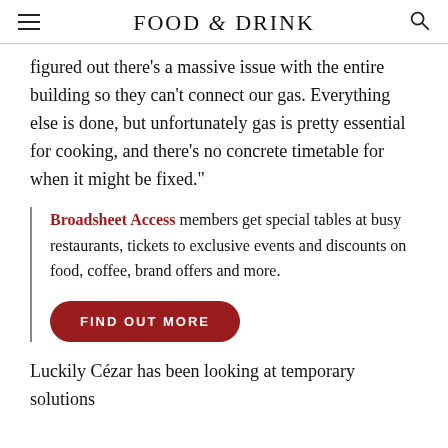FOOD & DRINK
figured out there’s a massive issue with the entire building so they can’t connect our gas. Everything else is done, but unfortunately gas is pretty essential for cooking, and there’s no concrete timetable for when it might be fixed.”
Broadsheet Access members get special tables at busy restaurants, tickets to exclusive events and discounts on food, coffee, brand offers and more.
FIND OUT MORE
Luckily Cézar has been looking at temporary solutions